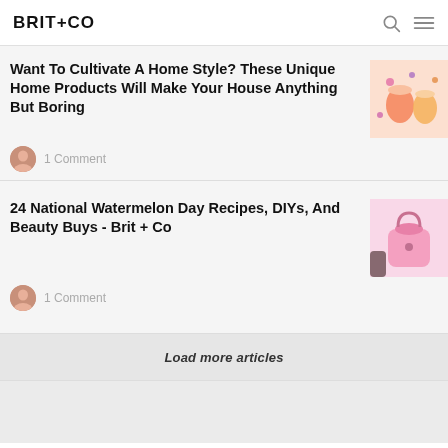BRIT+CO
Want To Cultivate A Home Style? These Unique Home Products Will Make Your House Anything But Boring
1 Comment
24 National Watermelon Day Recipes, DIYs, And Beauty Buys - Brit + Co
1 Comment
Load more articles